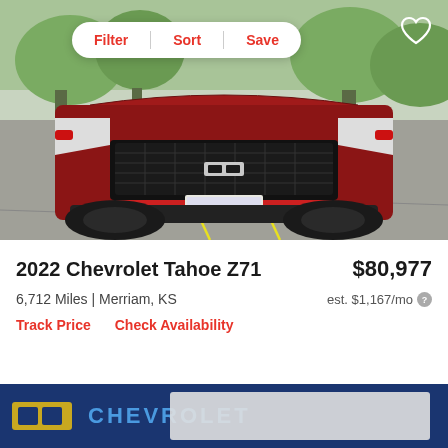[Figure (photo): Front view of a red 2022 Chevrolet Tahoe Z71 SUV parked in a parking lot with trees in background]
2022 Chevrolet Tahoe Z71
$80,977
6,712 Miles | Merriam, KS
est. $1,167/mo
Track Price
Check Availability
[Figure (photo): Partial view of Chevrolet dealership banner/logo at bottom of page]